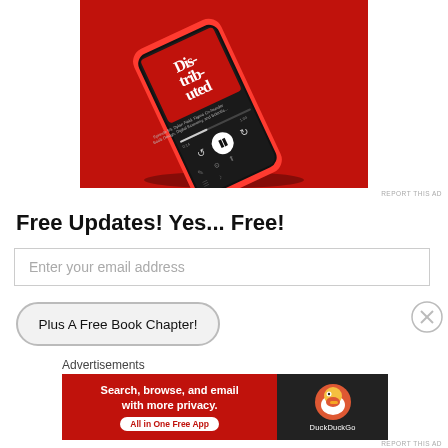[Figure (photo): Advertisement image showing a smartphone on a red background displaying a podcast app with the title 'Distributed' on screen]
REPORT THIS AD
Free Updates! Yes... Free!
Enter your email address
Plus A Free Book Chapter!
Advertisements
[Figure (illustration): DuckDuckGo advertisement banner: 'Search, browse, and email with more privacy. All in One Free App' with DuckDuckGo logo on dark background]
REPORT THIS AD